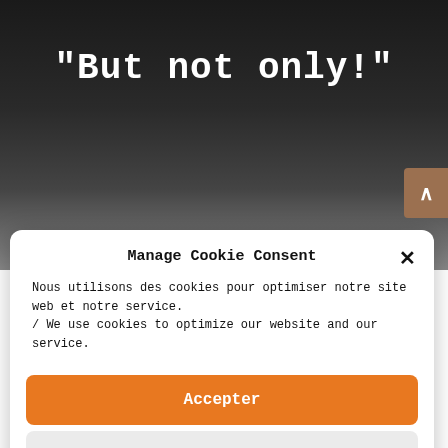"But not only!"
Manage Cookie Consent
Nous utilisons des cookies pour optimiser notre site web et notre service.
/ We use cookies to optimize our website and our service.
Accepter
Deny
Préférences / Preferences